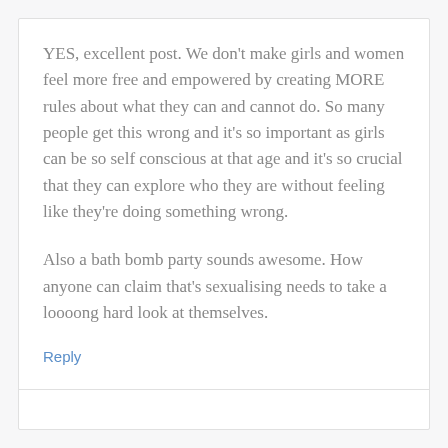YES, excellent post. We don't make girls and women feel more free and empowered by creating MORE rules about what they can and cannot do. So many people get this wrong and it's so important as girls can be so self conscious at that age and it's so crucial that they can explore who they are without feeling like they're doing something wrong.
Also a bath bomb party sounds awesome. How anyone can claim that's sexualising needs to take a loooong hard look at themselves.
Reply